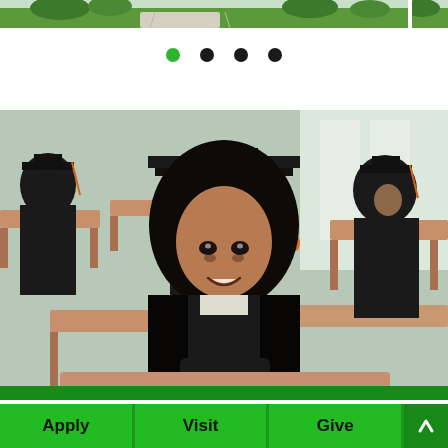[Figure (photo): Partial view of a green campus scene with pathway, grass, and trees — top banner image of a university website]
[Figure (infographic): Four navigation dots (carousel indicators): first dot is green (active), remaining three are black]
[Figure (photo): University graduation photo: a smiling young woman wearing black graduation cap and gown with orange tassel sits at a wooden desk in a classroom; other students in caps and gowns are visible in the background]
[Figure (infographic): Green horizontal bar at the bottom of the photo]